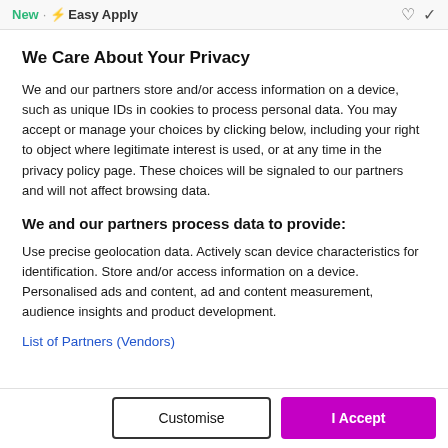New · ⚡ Easy Apply
We Care About Your Privacy
We and our partners store and/or access information on a device, such as unique IDs in cookies to process personal data. You may accept or manage your choices by clicking below, including your right to object where legitimate interest is used, or at any time in the privacy policy page. These choices will be signaled to our partners and will not affect browsing data.
We and our partners process data to provide:
Use precise geolocation data. Actively scan device characteristics for identification. Store and/or access information on a device. Personalised ads and content, ad and content measurement, audience insights and product development.
List of Partners (Vendors)
Customise   I Accept
Online English Teacher